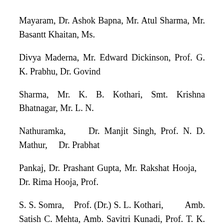Mayaram, Dr. Ashok Bapna, Mr. Atul Sharma, Mr. Basantt Khaitan, Ms. Divya Maderna, Mr. Edward Dickinson, Prof. G. K. Prabhu, Dr. Govind Sharma, Mr. K. B. Kothari, Smt. Krishna Bhatnagar, Mr. L. N. Nathuramka, Dr. Manjit Singh, Prof. N. D. Mathur, Dr. Prabhat Pankaj, Dr. Prashant Gupta, Mr. Rakshat Hooja, Dr. Rima Hooja, Prof. S. S. Somra, Prof. (Dr.) S. L. Kothari, Amb. Satish C. Mehta, Amb. Savitri Kunadi, Prof. T. K. Jain and Dr. Vijay Vir Singh.
The Commission will hold the other meeting with the